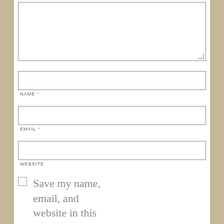[Figure (screenshot): A large empty textarea input box with a resize handle at the bottom right corner]
NAME *
[Figure (screenshot): Empty text input field for Name]
EMAIL *
[Figure (screenshot): Empty text input field for Email]
WEBSITE
[Figure (screenshot): Empty text input field for Website]
Save my name, email, and website in this browser for the next time I comment.